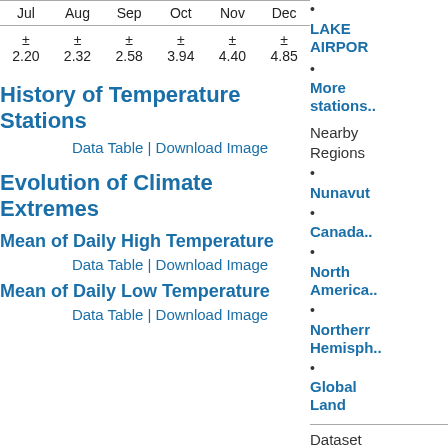| Jul | Aug | Sep | Oct | Nov | Dec |
| --- | --- | --- | --- | --- | --- |
| ± 2.20 | ± 2.32 | ± 2.58 | ± 3.94 | ± 4.40 | ± 4.85 |
History of Temperature Stations
Data Table | Download Image
Evolution of Climate Extremes
Mean of Daily High Temperature
Data Table | Download Image
Mean of Daily Low Temperature
Data Table | Download Image
LAKE AIRPOR
More stations..
Nearby Regions
Nunavut
Canada..
North America..
Northern Hemisph..
Global Land
Dataset Information